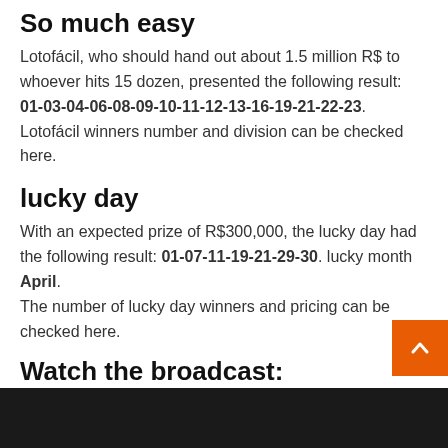So much easy
Lotofácil, who should hand out about 1.5 million R$ to whoever hits 15 dozen, presented the following result: 01-03-04-06-08-09-10-11-12-13-16-19-21-22-23. Lotofácil winners number and division can be checked here.
lucky day
With an expected prize of R$300,000, the lucky day had the following result: 01-07-11-19-21-29-30. lucky month April. The number of lucky day winners and pricing can be checked here.
Watch the broadcast: